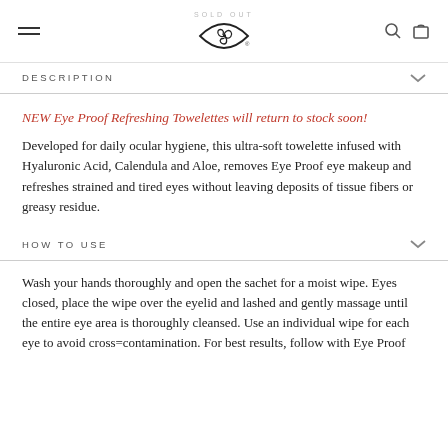SOLD OUT [logo] [search] [cart]
DESCRIPTION
NEW Eye Proof Refreshing Towelettes will return to stock soon!
Developed for daily ocular hygiene, this ultra-soft towelette infused with Hyaluronic Acid, Calendula and Aloe, removes Eye Proof eye makeup and refreshes strained and tired eyes without leaving deposits of tissue fibers or greasy residue.
HOW TO USE
Wash your hands thoroughly and open the sachet for a moist wipe. Eyes closed, place the wipe over the eyelid and lashed and gently massage until the entire eye area is thoroughly cleansed. Use an individual wipe for each eye to avoid cross=contamination. For best results, follow with Eye Proof